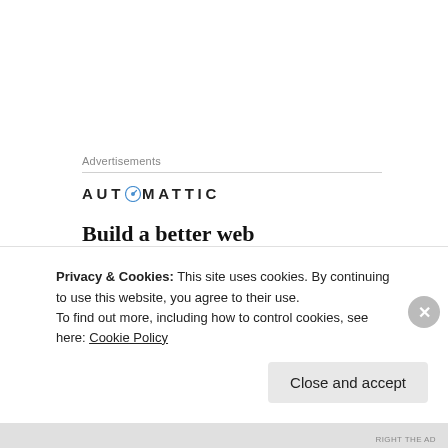Advertisements
[Figure (logo): Automattic logo with compass icon replacing the letter O]
Build a better web and a better world.
[Figure (illustration): Apply button (blue) and a circular cropped photo of a person]
Privacy & Cookies: This site uses cookies. By continuing to use this website, you agree to their use.
To find out more, including how to control cookies, see here: Cookie Policy
Close and accept